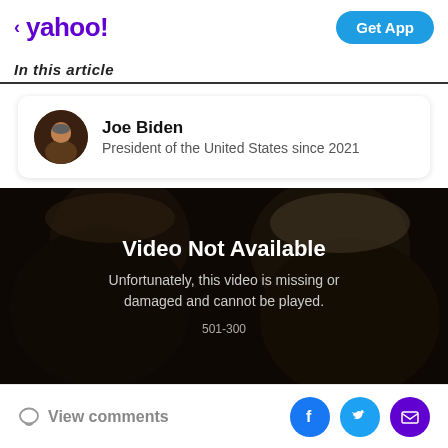< yahoo!  Get App
In this article
Joe Biden
President of the United States since 2021
[Figure (screenshot): Video Not Available screen with dark background showing two people facing away. Text reads: 'Video Not Available. Unfortunately, this video is missing or damaged and cannot be played. 501-300']
View comments